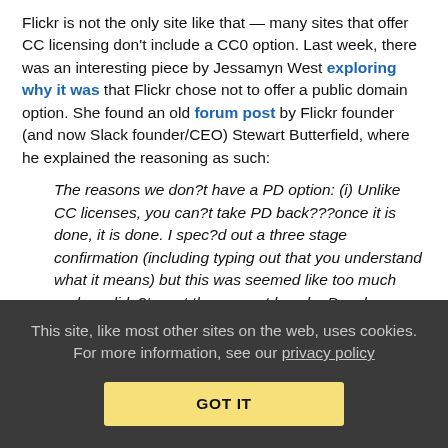Flickr is not the only site like that — many sites that offer CC licensing don't include a CC0 option. Last week, there was an interesting piece by Jessamyn West exploring why it was that Flickr chose not to offer a public domain option. She found an old forum post by Flickr founder (and now Slack founder/CEO) Stewart Butterfield, where he explained the reasoning as such:
The reasons we don?t have a PD option: (i) Unlike CC licenses, you can?t take PD back???once it is done, it is done. I spec?d out a three stage confirmation (including typing out that you understand what it means) but this was seemed like too much and we didn?t want the support hassle. People are free to use the description field to specify their PD desires. (ii) There are liabilities that we don?t want to take on if we allow people to claim something is public domain without actual checking the chain of title???if they don?
This site, like most other sites on the web, uses cookies. For more information, see our privacy policy
GOT IT